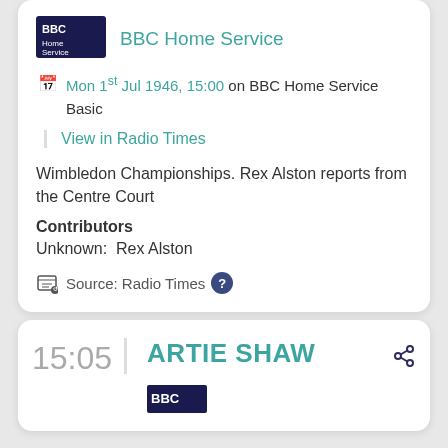[Figure (logo): BBC Home Service logo - dark blue rectangle with BBC and Home Service text in white]
BBC Home Service
Mon 1st Jul 1946, 15:00 on BBC Home Service Basic
View in Radio Times
Wimbledon Championships. Rex Alston reports from the Centre Court
Contributors
Unknown:  Rex Alston
Source: Radio Times
15:05
ARTIE SHAW
[Figure (logo): BBC logo small]